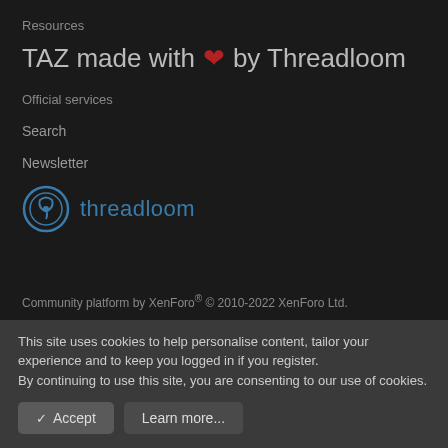Resources
TAZ made with ❤ by Threadloom
Official services
Search
Newsletter
[Figure (logo): Threadloom logo — circular icon with stylized T and the word threadloom in blue]
Community platform by XenForo® © 2010-2022 XenForo Ltd.
This site uses cookies to help personalise content, tailor your experience and to keep you logged in if you register.
By continuing to use this site, you are consenting to our use of cookies.